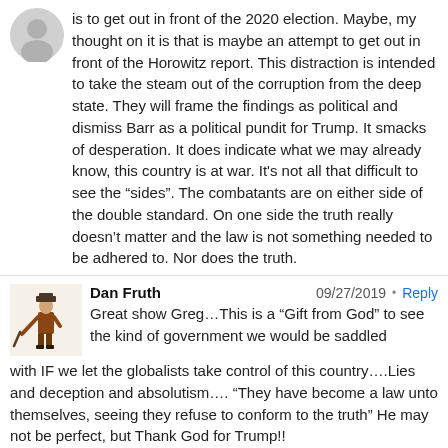is to get out in front of the 2020 election. Maybe, my thought on it is that is maybe an attempt to get out in front of the Horowitz report. This distraction is intended to take the steam out of the corruption from the deep state. They will frame the findings as political and dismiss Barr as a political pundit for Trump. It smacks of desperation. It does indicate what we may already know, this country is at war. It's not all that difficult to see the “sides”. The combatants are on either side of the double standard. On one side the truth really doesn’t matter and the law is not something needed to be adhered to. Nor does the truth.
[Figure (illustration): Illustration of a Revolutionary War-era soldier holding a musket]
Dan Fruth   09/27/2019 • Reply
Great show Greg…This is a “Gift from God” to see the kind of government we would be saddled with IF we let the globalists take control of this country….Lies and deception and absolutism…. “They have become a law unto themselves, seeing they refuse to conform to the truth” He may not be perfect, but Thank God for Trump!!